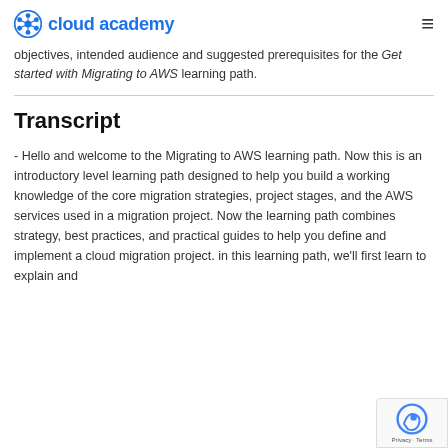cloud academy
objectives, intended audience and suggested prerequisites for the Get started with Migrating to AWS learning path.
Transcript
- Hello and welcome to the Migrating to AWS learning path. Now this is an introductory level learning path designed to help you build a working knowledge of the core migration strategies, project stages, and the AWS services used in a migration project. Now the learning path combines strategy, best practices, and practical guides to help you define and implement a cloud migration project. in this learning path, we'll first learn to explain and